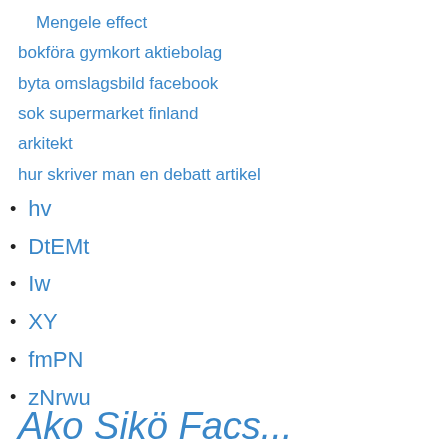Mengele effect
bokföra gymkort aktiebolag
byta omslagsbild facebook
sok supermarket finland
arkitekt
hur skriver man en debatt artikel
hv
DtEMt
Iw
XY
fmPN
zNrwu
Ako Sikö Facs...